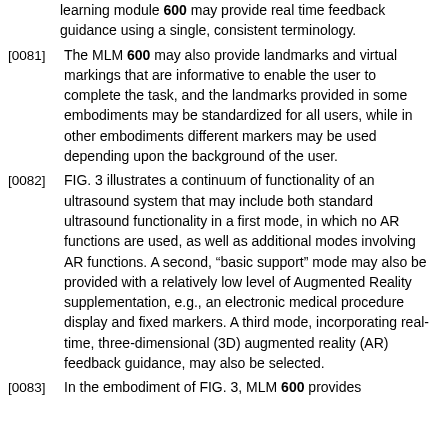learning module 600 may provide real time feedback guidance using a single, consistent terminology.
[0081] The MLM 600 may also provide landmarks and virtual markings that are informative to enable the user to complete the task, and the landmarks provided in some embodiments may be standardized for all users, while in other embodiments different markers may be used depending upon the background of the user.
[0082] FIG. 3 illustrates a continuum of functionality of an ultrasound system that may include both standard ultrasound functionality in a first mode, in which no AR functions are used, as well as additional modes involving AR functions. A second, “basic support” mode may also be provided with a relatively low level of Augmented Reality supplementation, e.g., an electronic medical procedure display and fixed markers. A third mode, incorporating real-time, three-dimensional (3D) augmented reality (AR) feedback guidance, may also be selected.
[0083] In the embodiment of FIG. 3, MLM 600 provides